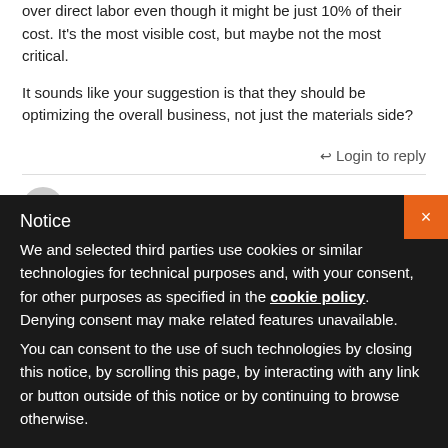over direct labor even though it might be just 10% of their cost. It's the most visible cost, but maybe not the most critical.
It sounds like your suggestion is that they should be optimizing the overall business, not just the materials side?
↩ Login to reply
Mike Gardner Says
14 years ago
Notice
We and selected third parties use cookies or similar technologies for technical purposes and, with your consent, for other purposes as specified in the cookie policy. Denying consent may make related features unavailable.
You can consent to the use of such technologies by closing this notice, by scrolling this page, by interacting with any link or button outside of this notice or by continuing to browse otherwise.